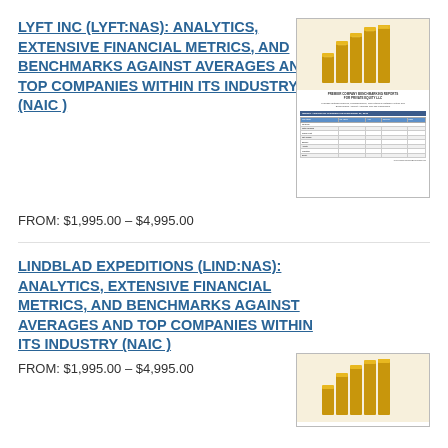LYFT INC (LYFT:NAS): ANALYTICS, EXTENSIVE FINANCIAL METRICS, AND BENCHMARKS AGAINST AVERAGES AND TOP COMPANIES WITHIN ITS INDUSTRY (NAIC)
FROM: $1,995.00 – $4,995.00
[Figure (illustration): Thumbnail image of a financial report document with gold bar chart graphic on cover]
LINDBLAD EXPEDITIONS (LIND:NAS): ANALYTICS, EXTENSIVE FINANCIAL METRICS, AND BENCHMARKS AGAINST AVERAGES AND TOP COMPANIES WITHIN ITS INDUSTRY (NAIC)
FROM: $1,995.00 – $4,995.00
[Figure (illustration): Partial thumbnail image of a financial report document with gold bar chart graphic, partially visible at bottom right]